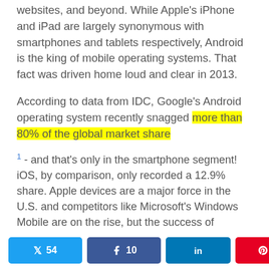websites, and beyond. While Apple's iPhone and iPad are largely synonymous with smartphones and tablets respectively, Android is the king of mobile operating systems. That fact was driven home loud and clear in 2013.
According to data from IDC, Google's Android operating system recently snagged more than 80% of the global market share
1 - and that's only in the smartphone segment! iOS, by comparison, only recorded a 12.9% share. Apple devices are a major force in the U.S. and competitors like Microsoft's Windows Mobile are on the rise, but the success of Samsung phones and others running the software has more businesses realizing that Android development should be
Twitter 54  Facebook 10  LinkedIn  Pinterest 1  < 65 SHARES